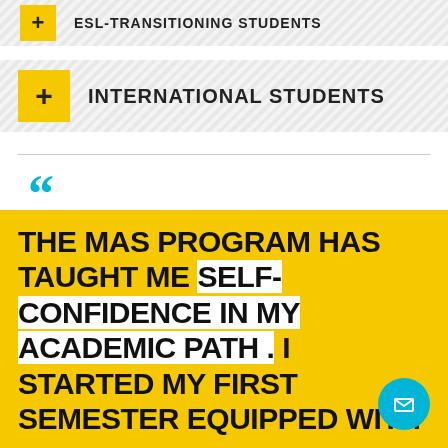ESL-TRANSITIONING STUDENTS
INTERNATIONAL STUDENTS
THE MAS PROGRAM HAS TAUGHT ME SELF-CONFIDENCE IN MY ACADEMIC PATH . I STARTED MY FIRST SEMESTER EQUIPPED WITH